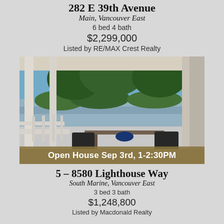282 E 39th Avenue
Main, Vancouver East
6 bed 4 bath
$2,299,000
Listed by RE/MAX Crest Realty
[Figure (photo): Outdoor covered patio/deck area with white railings and columns, dark wicker chairs and table, trees and a river/water view in background, blue sky]
Open House Sep 3rd, 1-2:30PM
5 – 8580 Lighthouse Way
South Marine, Vancouver East
3 bed 3 bath
$1,248,800
Listed by Macdonald Realty